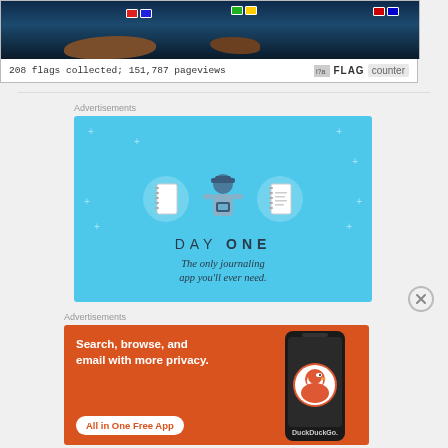[Figure (screenshot): Flag counter widget showing a world map with flags and text '208 flags collected; 151,787 pageviews' with FLAG counter logo]
Advertisements
[Figure (screenshot): Day One journaling app advertisement with blue background, showing notebook icons and a person illustration, with text 'DAY ONE - The only journaling app you'll ever need.']
Advertisements
[Figure (screenshot): DuckDuckGo advertisement with orange background, text 'Search, browse, and email with more privacy. All in One Free App' with phone showing DuckDuckGo logo]